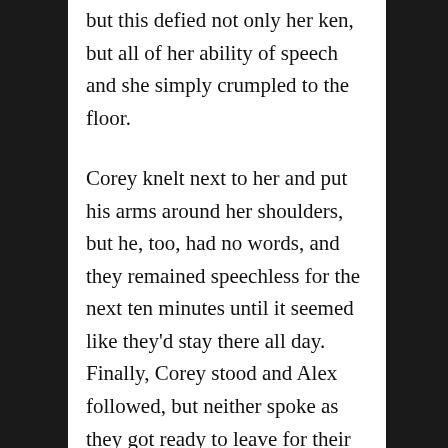but this defied not only her ken, but all of her ability of speech and she simply crumpled to the floor.
Corey knelt next to her and put his arms around her shoulders, but he, too, had no words, and they remained speechless for the next ten minutes until it seemed like they'd stay there all day. Finally, Corey stood and Alex followed, but neither spoke as they got ready to leave for their office.
Another half hour later, still speechless, they drove passed a park area in another apartment community and saw three new tree stumps exactly like the one that had been outside their apartment. Corey nearly drove off the road as he